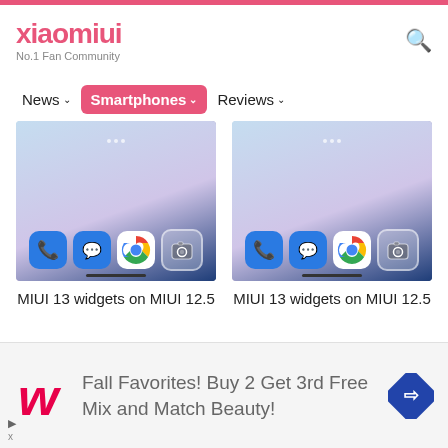xiaomiui — No.1 Fan Community
News | Smartphones | Reviews
[Figure (screenshot): Screenshot of a smartphone homescreen showing app icons: Phone, Messages, Chrome, Camera on a blue/purple gradient background — left card]
MIUI 13 widgets on MIUI 12.5
[Figure (screenshot): Screenshot of a smartphone homescreen showing app icons: Phone, Messages, Chrome, Camera on a blue/purple gradient background — right card]
MIUI 13 widgets on MIUI 12.5
Yaay! You can now enjoy your favorite MIUI 13 widgets on your MIUI 12.5 device. Now you can have the best
[Figure (infographic): Walgreens advertisement banner: Fall Favorites! Buy 2 Get 3rd Free Mix and Match Beauty! with Walgreens logo and directional sign icon]